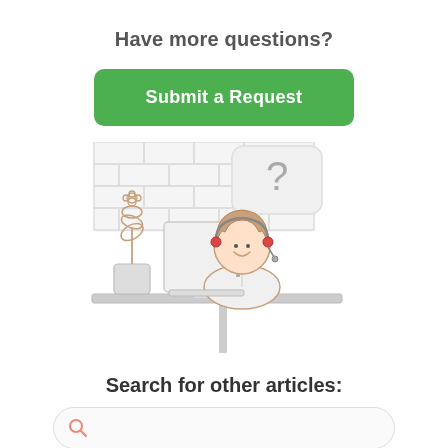Have more questions?
Submit a Request
[Figure (illustration): Customer support representative sitting at a desk with a computer monitor and a potted plant. A speech bubble with a question mark appears above her head. Background shows a brick wall pattern.]
Search for other articles:
(Search bar with magnifying glass icon)